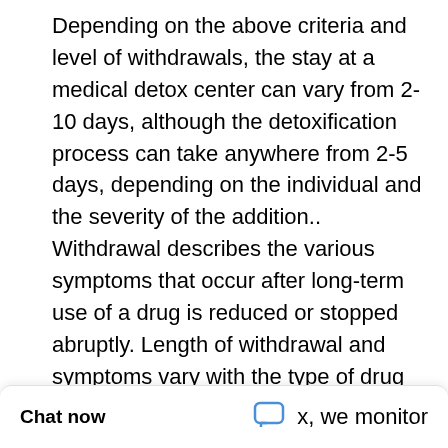Depending on the above criteria and level of withdrawals, the stay at a medical detox center can vary from 2-10 days, although the detoxification process can take anywhere from 2-5 days, depending on the individual and the severity of the addition.. Withdrawal describes the various symptoms that occur after long-term use of a drug is reduced or stopped abruptly. Length of withdrawal and symptoms vary with the type of drug and can be very dangerous if not monitored by a medical doctor and nursing staff.
Chat now   x, we monitor